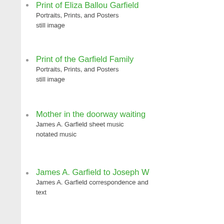Print of Eliza Ballou Garfield
Portraits, Prints, and Posters
still image
Print of the Garfield Family
Portraits, Prints, and Posters
still image
Mother in the doorway waiting
James A. Garfield sheet music
notated music
James A. Garfield to Joseph W
James A. Garfield correspondence and
text